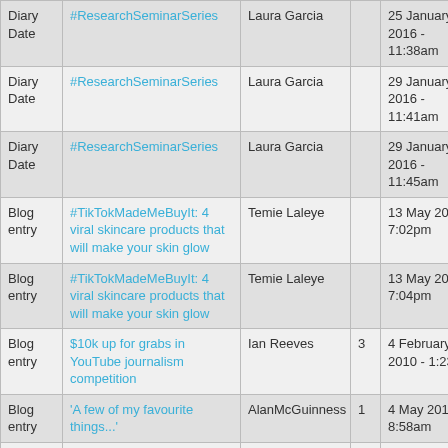| Type | Title | Author | Comments | Date |
| --- | --- | --- | --- | --- |
| Diary Date | #ResearchSeminarSeries | Laura Garcia |  | 25 January 2016 - 11:38am |
| Diary Date | #ResearchSeminarSeries | Laura Garcia |  | 29 January 2016 - 11:41am |
| Diary Date | #ResearchSeminarSeries | Laura Garcia |  | 29 January 2016 - 11:45am |
| Blog entry | #TikTokMadeMeBuyIt: 4 viral skincare products that will make your skin glow | Temie Laleye |  | 13 May 2021 - 7:02pm |
| Blog entry | #TikTokMadeMeBuyIt: 4 viral skincare products that will make your skin glow | Temie Laleye |  | 13 May 2021 - 7:04pm |
| Blog entry | $10k up for grabs in YouTube journalism competition | Ian Reeves | 3 | 4 February 2010 - 1:23pm |
| Blog entry | 'A few of my favourite things...' | AlanMcGuinness | 1 | 4 May 2010 - 8:58am |
| CfJ Pick | 'Bleeding, I called 999. A tired man told me to go | Alister Houghton |  | 10 August 2011 - |